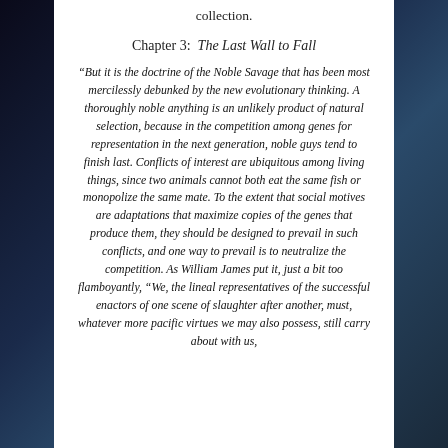collection.
Chapter 3: The Last Wall to Fall
“But it is the doctrine of the Noble Savage that has been most mercilessly debunked by the new evolutionary thinking. A thoroughly noble anything is an unlikely product of natural selection, because in the competition among genes for representation in the next generation, noble guys tend to finish last. Conflicts of interest are ubiquitous among living things, since two animals cannot both eat the same fish or monopolize the same mate. To the extent that social motives are adaptations that maximize copies of the genes that produce them, they should be designed to prevail in such conflicts, and one way to prevail is to neutralize the competition. As William James put it, just a bit too flamboyantly, “We, the lineal representatives of the successful enactors of one scene of slaughter after another, must, whatever more pacific virtues we may also possess, still carry about with us,